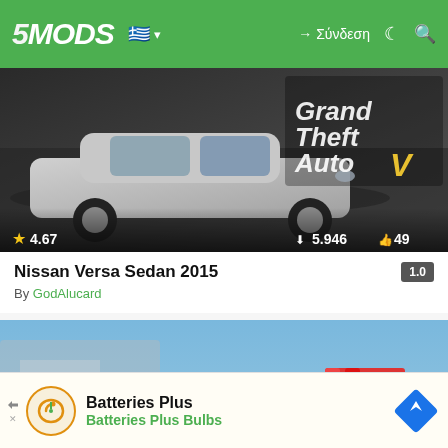5MODS — Σύνδεση
[Figure (screenshot): Nissan Versa Sedan 2015 mod thumbnail — white sedan car against dark background with GTA V logo. Rating: 4.67 stars, 5.946 downloads, 49 likes.]
Nissan Versa Sedan 2015
By GodAlucard
[Figure (screenshot): Ford mod thumbnail — police tow truck (Policia) with red/white livery against blurred city background. Rating: 4.8 stars, 36 likes.]
Ford Ca...
[Figure (screenshot): Advertisement banner: Batteries Plus — Batteries Plus Bulbs with navigation icon]